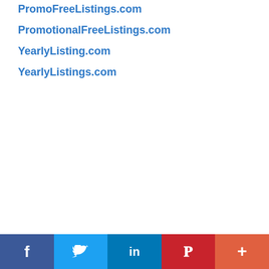PromoFreeListings.com
PromotionalFreeListings.com
YearlyListing.com
YearlyListings.com
Facebook | Twitter | LinkedIn | Pinterest | More